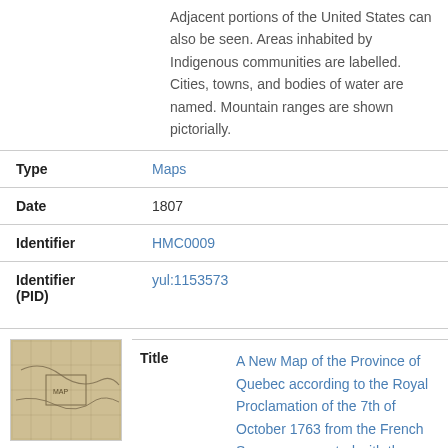Adjacent portions of the United States can also be seen. Areas inhabited by Indigenous communities are labelled. Cities, towns, and bodies of water are named. Mountain ranges are shown pictorially.
| Field | Value |
| --- | --- |
| Type | Maps |
| Date | 1807 |
| Identifier | HMC0009 |
| Identifier (PID) | yul:1153573 |
[Figure (map): Thumbnail image of an old map, sepia/brown tones]
| Field | Value |
| --- | --- |
| Title | A New Map of the Province of Quebec according to the Royal Proclamation of the 7th of October 1763 from the French Surveys connected with those made after |